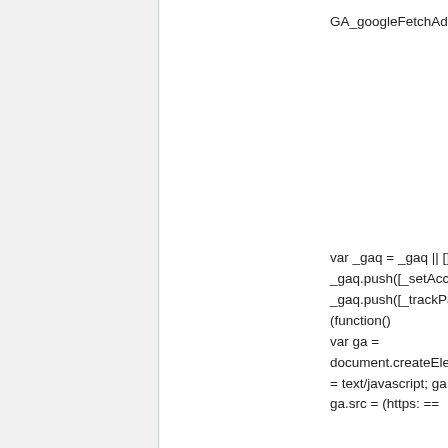GA_googleFetchAds();
var _gaq = _gaq || [];
_gaq.push([_setAccount, UA-18417873-1]);
_gaq.push([_trackPageview]);
(function()
var ga = document.createElement(script); ga.type = text/javascript; ga.async = true;
ga.src = (https: ==